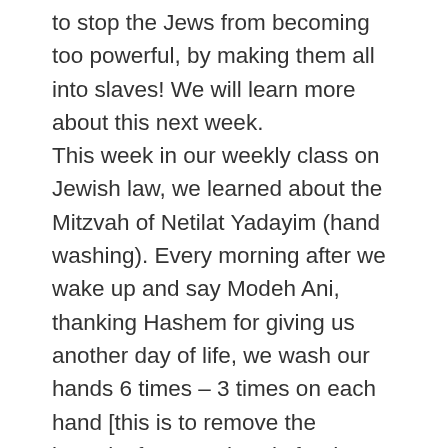to stop the Jews from becoming too powerful, by making them all into slaves! We will learn more about this next week. This week in our weekly class on Jewish law, we learned about the Mitzvah of Netilat Yadayim (hand washing). Every morning after we wake up and say Modeh Ani, thanking Hashem for giving us another day of life, we wash our hands 6 times – 3 times on each hand [this is to remove the impurity from our hands for the wonderful and holy work that every one of us has to do each day] The holy work that we do is doing Mitzvot like helping others, taking care of our families, Davening/praying, giving love and